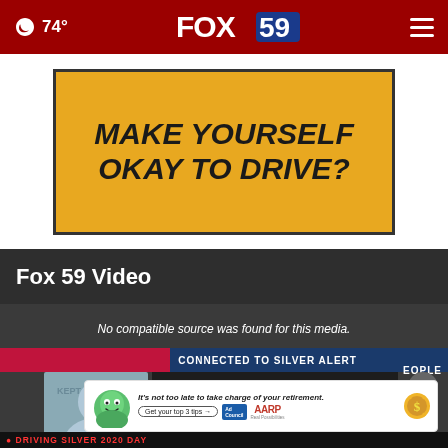🌙 74° FOX 59
[Figure (infographic): Yellow advertisement banner with bold dark text reading MAKE YOURSELF OKAY TO DRIVE?]
Fox 59 Video
[Figure (screenshot): Video player showing Fox 59 news broadcast. Overlay text: No compatible source was found for this media. News ticker shows CONNECTED TO SILVER ALERT. Lower third shows DEBORAH BRYAN. AARP advertisement overlay at bottom with green cartoon character and text: It's not too late to take charge of your retirement. Get your top 3 tips. AdChoices. AARP Real Possibilities. A close button (X) is visible.]
No compatible source was found for this media.
CONNECTED TO SILVER ALERT
DEBORAH BRYAN
It's not too late to take charge of your retirement. Get your top 3 tips →
DRIVING SILVER 2020 DAY